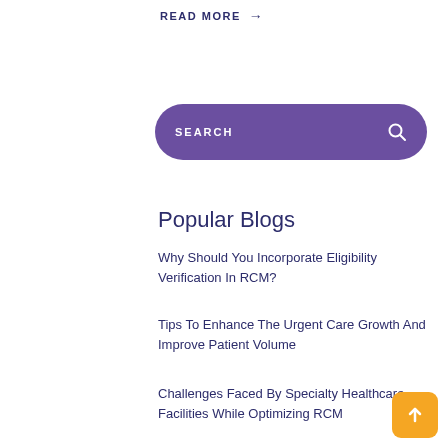READ MORE →
[Figure (other): Purple rounded search bar with 'SEARCH' text and magnifying glass icon]
Popular Blogs
Why Should You Incorporate Eligibility Verification In RCM?
Tips To Enhance The Urgent Care Growth And Improve Patient Volume
Challenges Faced By Specialty Healthcare Facilities While Optimizing RCM